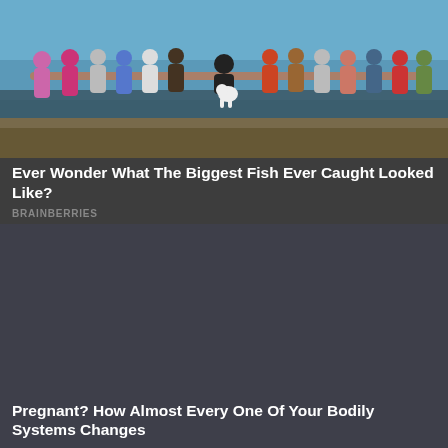[Figure (photo): Group of people on a beach holding a very long oarfish. A white dog stands in front of the group. The scene is at a sandy beach with ocean waves visible.]
Ever Wonder What The Biggest Fish Ever Caught Looked Like?
BRAINBERRIES
[Figure (photo): Dark grayish-blue placeholder image with no visible content.]
Pregnant? How Almost Every One Of Your Bodily Systems Changes